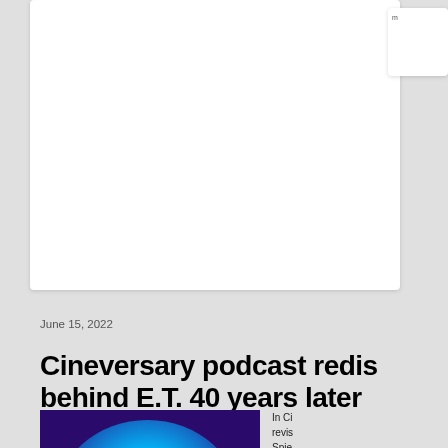June 15, 2022
Cineversary podcast redis... behind E.T. 40 years later
[Figure (photo): Movie still from E.T. showing a silhouette of a child and E.T. against a large glowing blue moon]
In Ci... revis... Spie... Terr... Erik ... at Ba... serve...